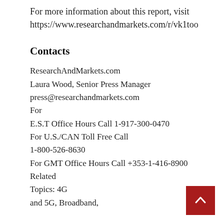For more information about this report, visit https://www.researchandmarkets.com/r/vk1too
Contacts
ResearchAndMarkets.com
Laura Wood, Senior Press Manager
press@researchandmarkets.com
For
E.S.T Office Hours Call 1-917-300-0470
For U.S./CAN Toll Free Call
1-800-526-8630
For GMT Office Hours Call +353-1-416-8900
Related
Topics: 4G
and 5G, Broadband,